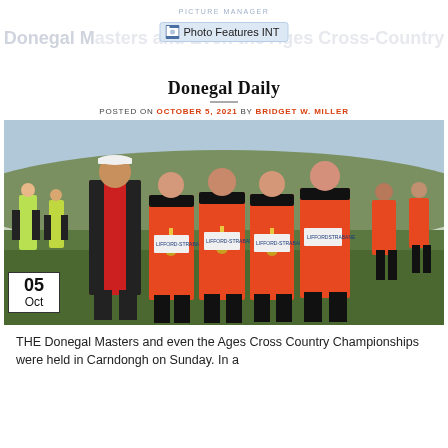PICTURE MANAGER
Donegal Masters and Even the Ages Cross-Country — Donegal Daily
POSTED ON OCTOBER 5, 2021 BY BRIDGET W. MILLER
[Figure (photo): Group photo of five athletes from Lifford-Strabane AC at cross country championships. Four women wearing orange Lifford-Strabane vests with medals, and one man in a red/black tracksuit top and white cap, standing on a grass field with other runners in background. A date badge shows 05 Oct overlaid on the top-left of the image.]
THE Donegal Masters and even the Ages Cross Country Championships were held in Carndongh on Sunday. In a